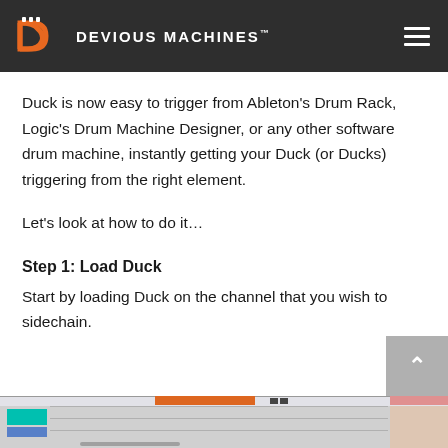DEVIOUS MACHINES
Duck is now easy to trigger from Ableton's Drum Rack, Logic's Drum Machine Designer, or any other software drum machine, instantly getting your Duck (or Ducks) triggering from the right element.
Let's look at how to do it...
Step 1: Load Duck
Start by loading Duck on the channel that you wish to sidechain.
[Figure (screenshot): Screenshot of a DAW interface showing a drum rack or mixer channel view at the bottom of the page]